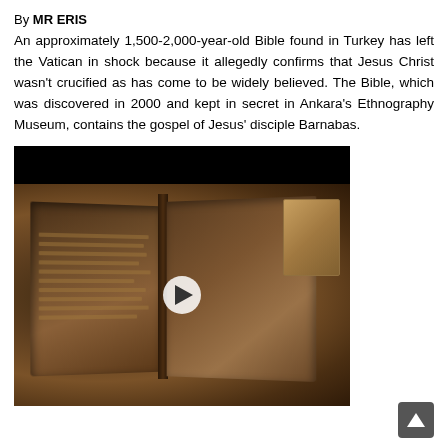By MR ERIS
An approximately 1,500-2,000-year-old Bible found in Turkey has left the Vatican in shock because it allegedly confirms that Jesus Christ wasn't crucified as has come to be widely believed. The Bible, which was discovered in 2000 and kept in secret in Ankara's Ethnography Museum, contains the gospel of Jesus' disciple Barnabas.
[Figure (photo): A video thumbnail showing an ancient leather-bound book open to two pages, displayed on a surface, with a play button overlay and a black bar at the top. A smaller book is visible in the background at top right.]